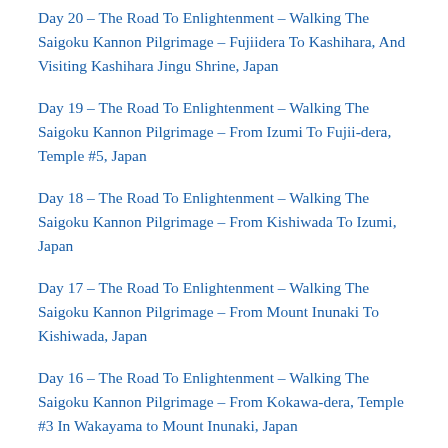Day 20 – The Road To Enlightenment – Walking The Saigoku Kannon Pilgrimage – Fujiidera To Kashihara, And Visiting Kashihara Jingu Shrine, Japan
Day 19 – The Road To Enlightenment – Walking The Saigoku Kannon Pilgrimage – From Izumi To Fujii-dera, Temple #5, Japan
Day 18 – The Road To Enlightenment – Walking The Saigoku Kannon Pilgrimage – From Kishiwada To Izumi, Japan
Day 17 – The Road To Enlightenment – Walking The Saigoku Kannon Pilgrimage – From Mount Inunaki To Kishiwada, Japan
Day 16 – The Road To Enlightenment – Walking The Saigoku Kannon Pilgrimage – From Kokawa-dera, Temple #3 In Wakayama to Mount Inunaki, Japan